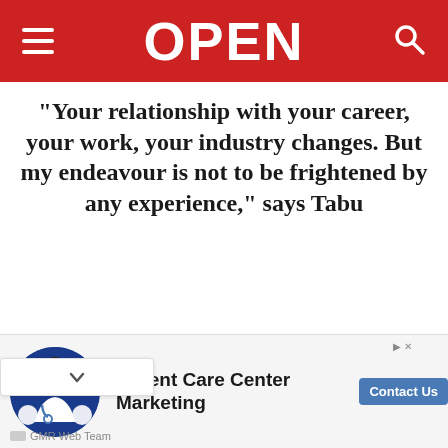OPEN
“Your relationship with your career, your work, your industry changes. But my endeavour is not to be frightened by any experience,” says Tabu
The director-actor relationship is the most critical er. So, if Vishal Bhardwai creates a world of
[Figure (other): Advertisement banner for Urgent Care Center Marketing by GMR Web Team with a Contact Us button]